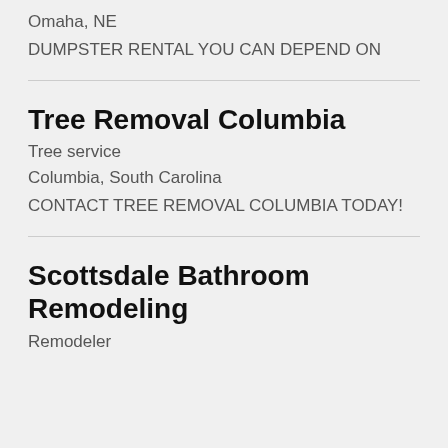Omaha, NE
DUMPSTER RENTAL YOU CAN DEPEND ON
Tree Removal Columbia
Tree service
Columbia, South Carolina
CONTACT TREE REMOVAL COLUMBIA TODAY!
Scottsdale Bathroom Remodeling
Remodeler